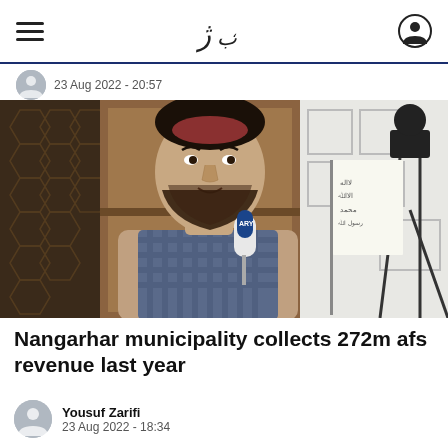Navigation bar with hamburger menu, logo, and user icon
23 Aug 2022 - 20:57
[Figure (photo): A man in traditional Afghan clothing sitting and being interviewed with a microphone in front of him, a camera on a tripod to the right, wooden shelving in the background, and a white flag visible on the right side.]
Nangarhar municipality collects 272m afs revenue last year
Yousuf Zarifi
23 Aug 2022 - 18:34